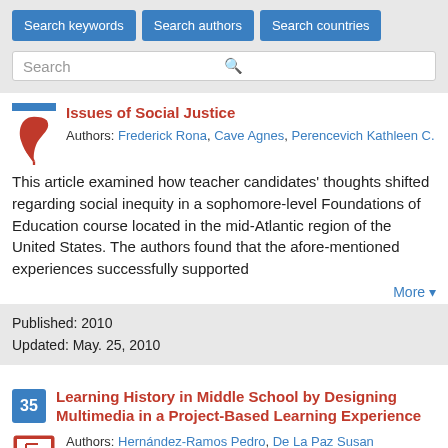[Figure (screenshot): Search bar UI with three buttons: Search keywords, Search authors, Search countries, and a search input field with magnifying glass icon]
Issues of Social Justice
Authors: Frederick Rona, Cave Agnes, Perencevich Kathleen C.
This article examined how teacher candidates' thoughts shifted regarding social inequity in a sophomore-level Foundations of Education course located in the mid-Atlantic region of the United States. The authors found that the afore-mentioned experiences successfully supported
More ▾
Published: 2010
Updated: May. 25, 2010
Learning History in Middle School by Designing Multimedia in a Project-Based Learning Experience
Authors: Hernández-Ramos Pedro, De La Paz Susan